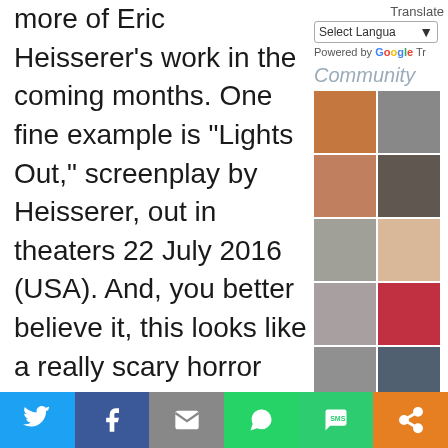more of Eric Heisserer's work in the coming months. One fine example is “Lights Out,” screenplay by Heisserer, out in theaters 22 July 2016 (USA). And, you better believe it, this looks like a really scary horror movie. Currently, Denis Villeneuve is directing
[Figure (screenshot): Translate widget with 'Select Language' dropdown and 'Powered by Google Tr' text]
[Figure (photo): Community section showing a 2-column grid of user profile photos/avatars]
[Figure (infographic): Social share bar at the bottom with Twitter, Facebook, Email, WhatsApp, SMS, and More buttons]